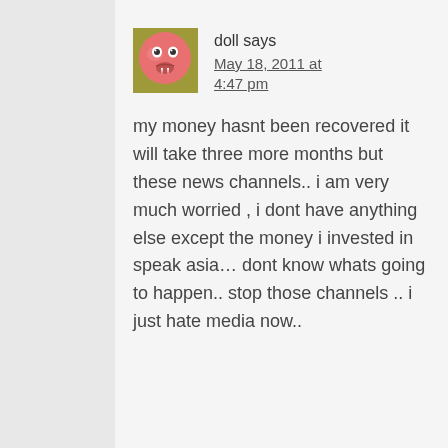[Figure (illustration): Pink cartoon face avatar with wide eyes and small fangs, used as a comment profile picture]
doll says
May 18, 2011 at 4:47 pm
my money hasnt been recovered it will take three more months but these news channels.. i am very much worried , i dont have anything else except the money i invested in speak asia… dont know whats going to happen.. stop those channels .. i just hate media now..